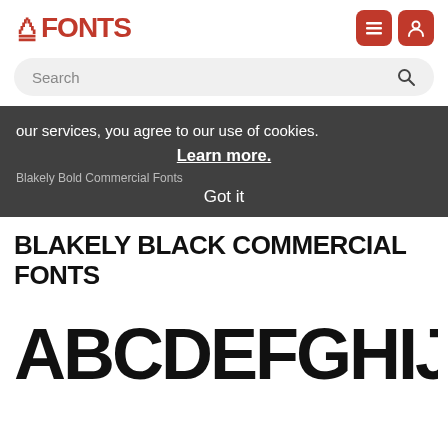FFONTS
Search
our services, you agree to our use of cookies. Learn more. Blakely Bold Commercial Fonts Got it
BLAKELY BLACK COMMERCIAL FONTS
[Figure (illustration): Large stylized bold font preview showing letters ABCDEFGHIJKLM in heavy black display typeface (Blakely Black)]